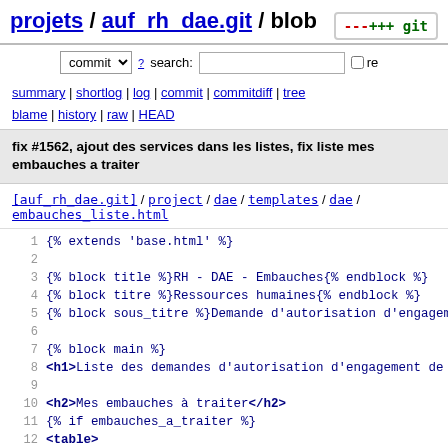projets / auf_rh_dae.git / blob
commit search: re
summary | shortlog | log | commit | commitdiff | tree
blame | history | raw | HEAD
fix #1562, ajout des services dans les listes, fix liste mes embauches a traiter
[auf_rh_dae.git] / project / dae / templates / dae / embauches_liste.html
1  {% extends 'base.html' %}
2
3  {% block title %}RH - DAE - Embauches{% endblock %}
4  {% block titre %}Ressources humaines{% endblock %}
5  {% block sous_titre %}Demande d'autorisation d'engage...
6
7  {% block main %}
8  <h1>Liste des demandes d'autorisation d'engagement de p...
9
10 <h2>Mes embauches à traiter</h2>
11 {% if embauches_a_traiter %}
12 <table>
13     <tr>
14         <th>Embauche</th>
15         <th>Service</th>
16         <th>Région</th>
17         <th>État</th>